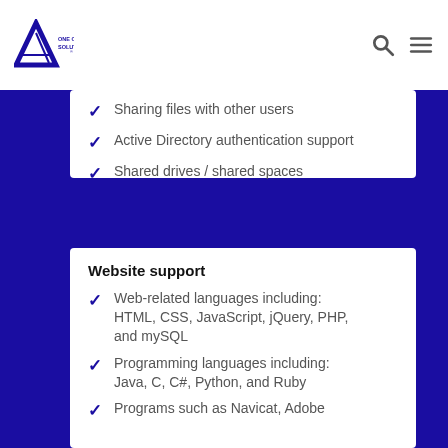One of a Kind Solutions
Sharing files with other users
Active Directory authentication support
Shared drives / shared spaces
Website support
Web-related languages including: HTML, CSS, JavaScript, jQuery, PHP, and mySQL
Programming languages including: Java, C, C#, Python, and Ruby
Programs such as Navicat, Adobe